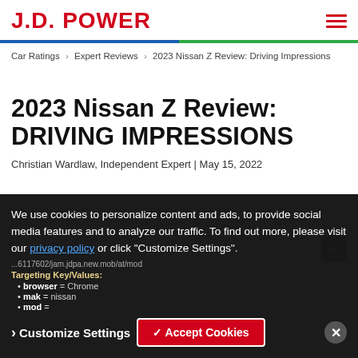J.D. POWER
Car Ratings > Expert Reviews > 2023 Nissan Z Review: Driving Impressions
2023 Nissan Z Review: DRIVING IMPRESSIONS
Christian Wardlaw, Independent Expert | May 15, 2022
We use cookies to personalize content and ads, to provide social media features and to analyze our traffic. To find out more, please visit our privacy policy or click "Customize Settings".